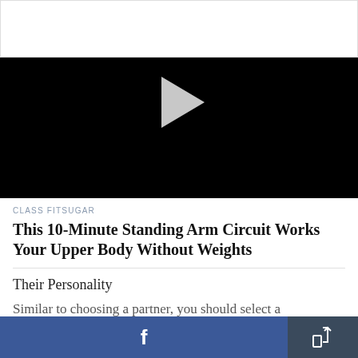[Figure (screenshot): Video player area with black background and a light gray play button triangle in the center. A white bar appears at the top.]
CLASS FITSUGAR
This 10-Minute Standing Arm Circuit Works Your Upper Body Without Weights
Their Personality
Similar to choosing a partner, you should select a
[Figure (screenshot): Bottom navigation bar with Facebook share button (blue, left) and a share/export icon button (dark navy, right)]